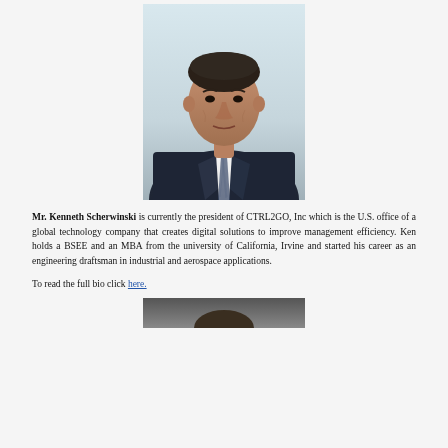[Figure (photo): Professional headshot of Mr. Kenneth Scherwinski, a middle-aged man in a dark suit and striped tie, with a light blurred background.]
Mr. Kenneth Scherwinski is currently the president of CTRL2GO, Inc which is the U.S. office of a global technology company that creates digital solutions to improve management efficiency. Ken holds a BSEE and an MBA from the university of California, Irvine and started his career as an engineering draftsman in industrial and aerospace applications.
To read the full bio click here.
[Figure (photo): Partial view of another person's headshot photo at the bottom of the page.]